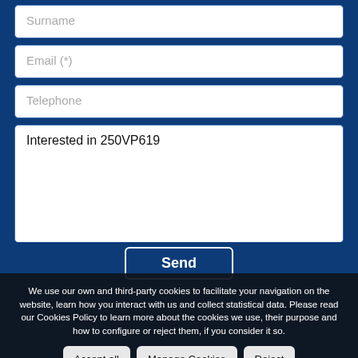Surname
Email (*)
Telephone
Interested in  250VP619
Send
We use our own and third-party cookies to facilitate your navigation on the website, learn how you interact with us and collect statistical data. Please read our Cookies Policy to learn more about the cookies we use, their purpose and how to configure or reject them, if you consider it so.
Accept all
Manage Cookies
Reject